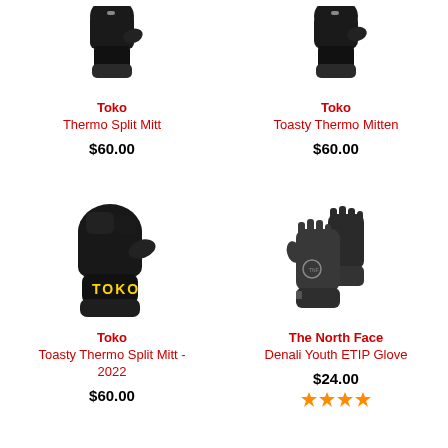[Figure (photo): Black Toko Thermo Split Mitt glove/mitten product photo, top portion visible]
Toko
Thermo Split Mitt
$60.00
[Figure (photo): Black Toko Toasty Thermo Mitten product photo, top portion visible]
Toko
Toasty Thermo Mitten
$60.00
[Figure (photo): Black Toko Toasty Thermo Split Mitt 2022 product photo with yellow TOKO logo]
Toko
Toasty Thermo Split Mitt - 2022
$60.00
[Figure (photo): Black The North Face Denali Youth ETIP Glove pair product photo]
The North Face
Denali Youth ETIP Glove
$24.00